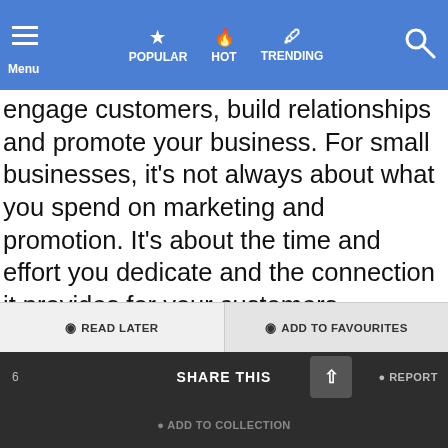Menu  POPULAR  HOT  TRENDING
engage customers, build relationships and promote your business. For small businesses, it's not always about what you spend on marketing and promotion. It's about the time and effort you dedicate and the connection it provides for your customers.

If you enjoy the content please Share it and Follow Us through social media! As well as leaving a Comment, an Upvote & your Reactions down below!
Source
READ LATER  ADD TO FAVOURITES  ADD TO COLLECTION  6 SHARE THIS  REPORT